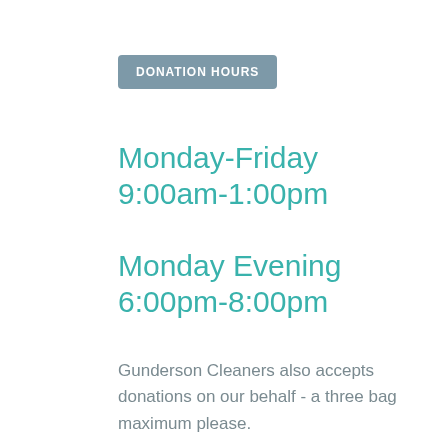DONATION HOURS
Monday-Friday
9:00am-1:00pm
Monday Evening
6:00pm-8:00pm
Gunderson Cleaners also accepts donations on our behalf - a three bag maximum please.
CLIENT SHOPPING HOURS
Monday, Tuesday, Thursday